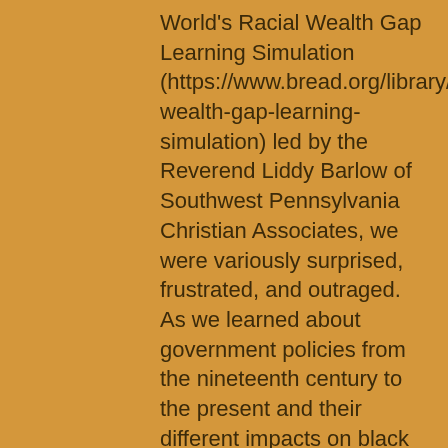World's Racial Wealth Gap Learning Simulation (https://www.bread.org/library/racial-wealth-gap-learning-simulation) led by the Reverend Liddy Barlow of Southwest Pennsylvania Christian Associates, we were variously surprised, frustrated, and outraged. As we learned about government policies from the nineteenth century to the present and their different impacts on black and white Americans, we began to understand in a more concrete way why accumulating generational wealth has been impossible for so many hardworking black people in our country. We could see more clearly that, even as people of goodwill and